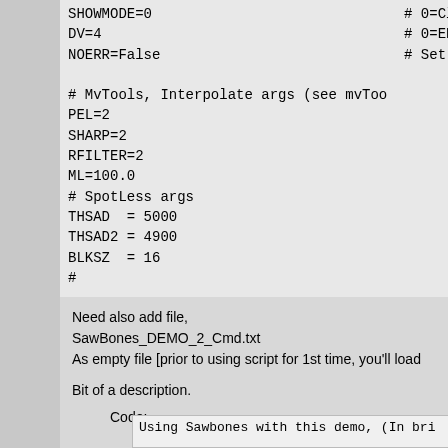SHOWMODE=0
DV=4
NOERR=False

# MvTools, Interpolate args (see mvToo
PEL=2
SHARP=2
RFILTER=2
ML=100.0
# SpotLess args
THSAD  = 5000
THSAD2 = 4900
BLKSZ  = 16
#

Src = last
Need also add file,
SawBones_DEMO_2_Cmd.txt
As empty file [prior to using script for 1st time, you'll load
Bit of a description.
Code:
Using Sawbones with this demo, (In bri

Open SawBones_DEMO_2_Cmd.txt in NotePa
Open Sawbones_DEMO_2.avs in VirtualDub
can minimize to on TaskBar). Resize Vi